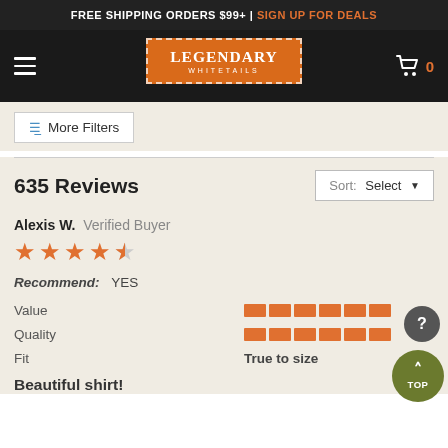FREE SHIPPING ORDERS $99+ | SIGN UP FOR DEALS
[Figure (logo): Legendary Whitetails logo on orange background with dashed border]
More Filters
635 Reviews
Sort: Select
Alexis W.  Verified Buyer
★★★★★ (4.5 out of 5 stars)
Recommend: YES
Value [bar indicator]
Quality [bar indicator]
Fit  True to size
Beautiful shirt!